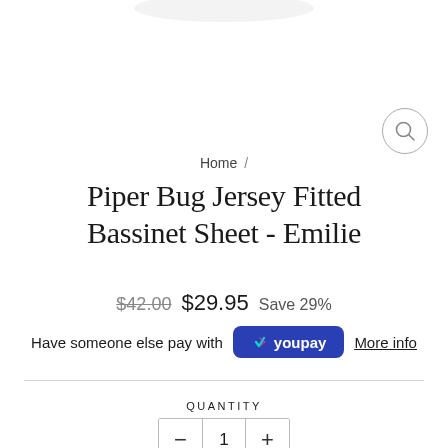[Figure (photo): Product image area at top of page showing a white/light area with partial product visible at top edge]
Home /
Piper Bug Jersey Fitted Bassinet Sheet - Emilie
$42.00  $29.95  Save 29%
Have someone else pay with YouPay  More info
QUANTITY
− 1 +